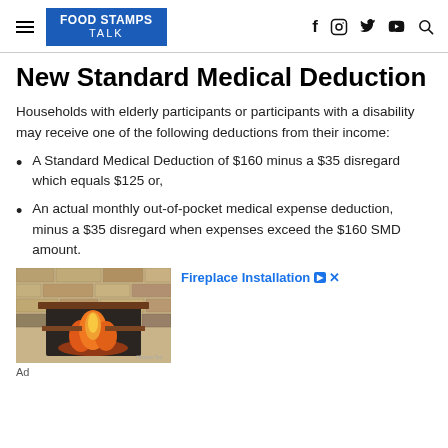FOOD STAMPS TALK
New Standard Medical Deduction
Households with elderly participants or participants with a disability may receive one of the following deductions from their income:
A Standard Medical Deduction of $160 minus a $35 disregard which equals $125 or,
An actual monthly out-of-pocket medical expense deduction, minus a $35 disregard when expenses exceed the $160 SMD amount.
[Figure (photo): Stone fireplace with wooden shelves advertisement image]
Ad